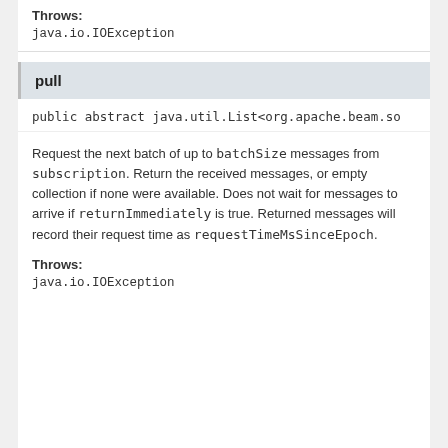Throws:
java.io.IOException
pull
public abstract java.util.List<org.apache.beam.so
Request the next batch of up to batchSize messages from subscription. Return the received messages, or empty collection if none were available. Does not wait for messages to arrive if returnImmediately is true. Returned messages will record their request time as requestTimeMsSinceEpoch.
Throws:
java.io.IOException